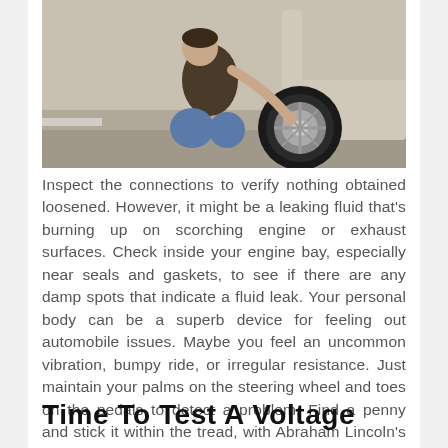[Figure (photo): Person kneeling beside a car wheel, working on or inspecting the tire/wheel area. The person is wearing jeans and a dark shirt.]
Inspect the connections to verify nothing obtained loosened. However, it might be a leaking fluid that's burning up on scorching engine or exhaust surfaces. Check inside your engine bay, especially near seals and gaskets, to see if there are any damp spots that indicate a fluid leak. Your personal body can be a superb device for feeling out automobile issues. Maybe you feel an uncommon vibration, bumpy ride, or irregular resistance. Just maintain your palms on the steering wheel and toes on the pedals to detect a problem. Find a penny and stick it within the tread, with Abraham Lincoln's head pointing towards the middle of the wheel.
Time To Test A Voltage